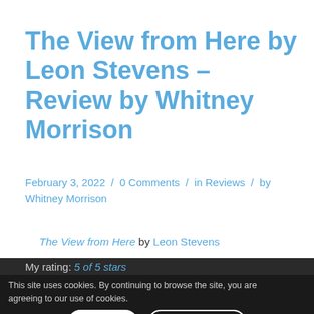The View from Here by Leon Stevens – Review by Whitney Morrison
February 3, 2022 / 0 Comments / in Reviews / by Whitney Morrison
The View from Here by Leon Stevens
My rating: 5 of 5 stars
This site uses cookies. By continuing to browse the site, you are agreeing to our use of cookies.
I'm actually very surprised by how much I enjoyed this novella. It had a way of pulling me in and I devoured it very quickly. It was such an interesting time spent with Th...